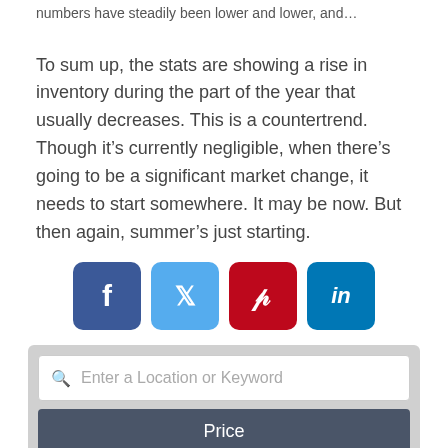numbers have steadily been lower and lower, and…
To sum up, the stats are showing a rise in inventory during the part of the year that usually decreases. This is a countertrend. Though it's currently negligible, when there's going to be a significant market change, it needs to start somewhere. It may be now. But then again, summer's just starting.
[Figure (infographic): Social sharing buttons: Facebook (blue), Twitter (light blue), Pinterest (red), LinkedIn (blue)]
[Figure (infographic): Search widget with location/keyword input, Price button, Beds and Baths buttons]